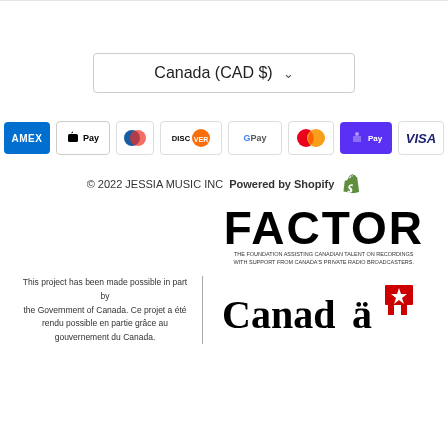[Figure (screenshot): Country/currency selector dropdown showing 'Canada (CAD $)' with a chevron arrow, styled as a bordered input box]
[Figure (infographic): Row of payment method icons: American Express, Apple Pay, Diners Club, Discover, Google Pay, Mastercard, Shop Pay, Visa]
© 2022 JESSIA MUSIC INC Powered by Shopify
[Figure (logo): FACTOR logo - The Foundation Assisting Canadian Talent on Recordings, with support from Canada's Private Radio Broadcasters]
[Figure (logo): Canada wordmark with maple leaf flag symbol]
This project has been made possible in part by the Government of Canada. Ce projet a été rendu possible en partie grâce au gouvernement du Canada.